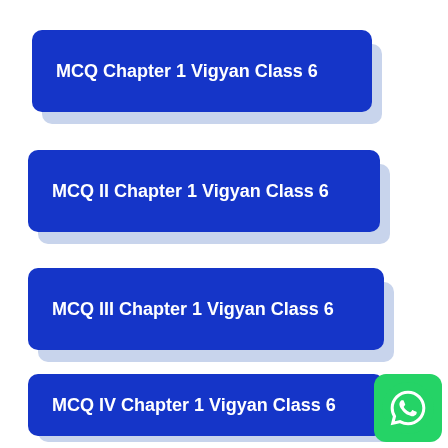MCQ Chapter 1 Vigyan Class 6
MCQ II Chapter 1 Vigyan Class 6
MCQ III Chapter 1 Vigyan Class 6
MCQ IV Chapter 1 Vigyan Class 6
[Figure (logo): WhatsApp logo green button]